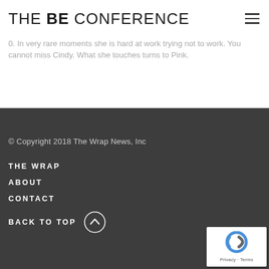THE BE CONFERENCE
The Pink Ceiling — a cross between a VC firm, a 'pinkubator' and a... In very rare moments she is hard at work trying not to work. You cannot miss Cindy. What she touches turns to Pink.
© Copyright 2018 The Wrap News, Inc
THE WRAP
ABOUT
CONTACT
BACK TO TOP